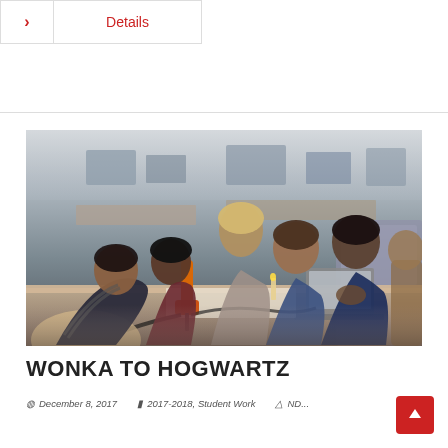> Details
[Figure (photo): Students gathered around a workbench in a classroom/maker space, watching a demonstration involving a tool (appears to be a soldering iron or similar device). Multiple students expressions show excitement and curiosity. Workshop/maker space environment with equipment visible in background.]
WONKA TO HOGWARTZ
December 8, 2017   2017-2018, Student Work   ND...